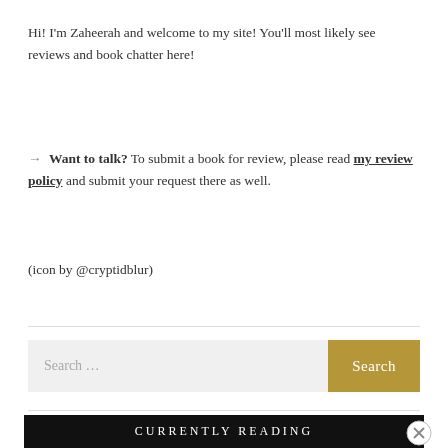Hi! I'm Zaheerah and welcome to my site! You'll most likely see reviews and book chatter here!
→ Want to talk? To submit a book for review, please read my review policy and submit your request there as well.
(icon by @cryptidblur)
[Figure (screenshot): Search bar with placeholder text 'Search ...' and a gold 'Search' button]
CURRENTLY READING